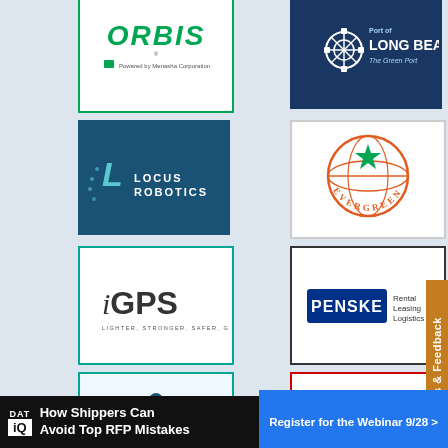[Figure (logo): ORBIS logo - green text on white background with 'Powered by Menasha Corporation' tagline, green border]
[Figure (logo): Port of Long Beach - The Green Port logo on dark navy background with gear/snowflake icon]
[Figure (logo): Locus Robotics logo on dark teal background with stylized L icon]
[Figure (logo): Evergreen shipping logo - orange globe with green star, text EVERGREEN around globe]
[Figure (logo): iGPS logo with teal border - italic i, bold GPS, tagline LIGHTER, STRONGER, SAFER, GREENER]
[Figure (logo): Penske logo with text Rental Leasing Logistics]
[Figure (logo): Kanban/company logo with dotted circle and arrow figure, teal border]
[Figure (logo): Engineering Innovation logo with red border]
FAQs & Feedback
How Shippers Can Avoid Top RFP Mistakes
Register for the Webinar 9/28 >